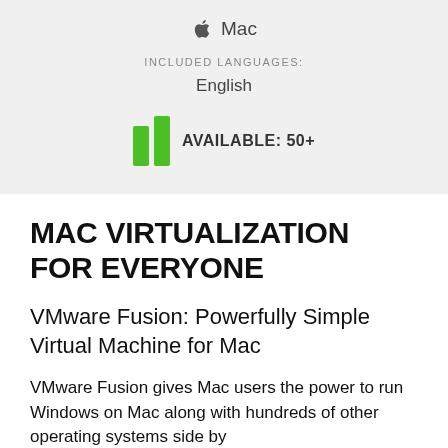[Figure (infographic): Apple logo icon followed by the text 'Mac']
INCLUDED LANGUAGES:
English
[Figure (infographic): Two green vertical bars icon with text 'AVAILABLE: 50+']
MAC VIRTUALIZATION FOR EVERYONE
VMware Fusion: Powerfully Simple Virtual Machine for Mac
VMware Fusion gives Mac users the power to run Windows on Mac along with hundreds of other operating systems side by